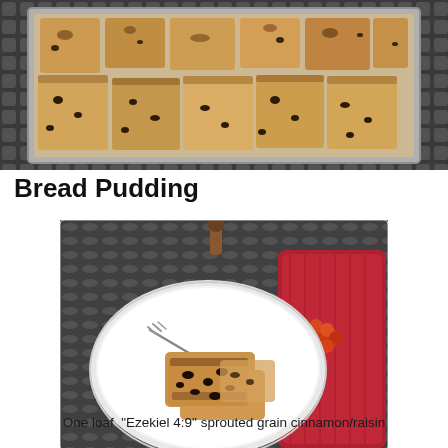[Figure (photo): Overhead view of bread pudding in a baking pan, sliced pieces of toasted cinnamon raisin bread on a metal grid surface]
Bread Pudding
[Figure (photo): A white plate with slices of bread pudding on a metal mesh outdoor table, with a red napkin and beaded napkin ring, and a fork]
One loaf  "Ezekiel 4:9" sprouted grain cinnamon/raisin